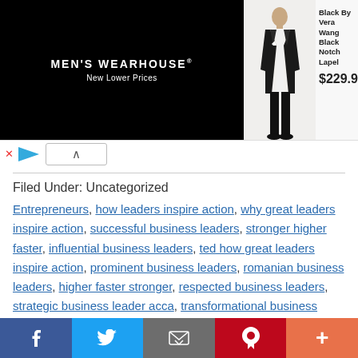[Figure (screenshot): Men's Wearhouse advertisement banner showing a black tuxedo suit and a couple in formalwear. Product: Black By Vera Wang Black Notch Lapel, priced at $229.99]
Filed Under: Uncategorized
Entrepreneurs, how leaders inspire action, why great leaders inspire action, successful business leaders, stronger higher faster, influential business leaders, ted how great leaders inspire action, prominent business leaders, romanian business leaders, higher faster stronger, respected business leaders, strategic business leader acca, transformational business leaders, higher profit margin business, famous business leaders,
[Figure (screenshot): Social sharing bar with Facebook, Twitter, Email, Pinterest, and More (+) buttons]